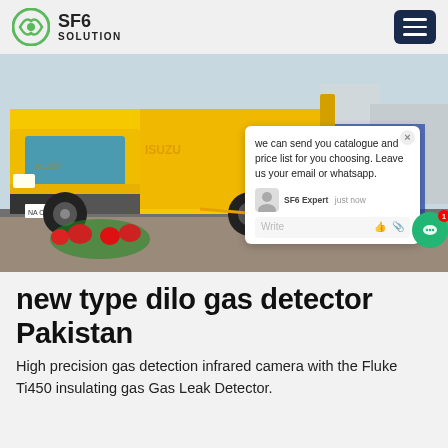SF6 SOLUTION
[Figure (photo): Yellow Isuzu truck with an open side panel revealing equipment inside, parked outdoors. A chat popup overlay reads: 'we can send you catalogue and price list for you choosing. Leave us your email or whatsapp.' Attributed to SF6 Expert, just now.]
new type dilo gas detector Pakistan
High precision gas detection infrared camera with the Fluke Ti450 insulating gas Gas Leak Detector.